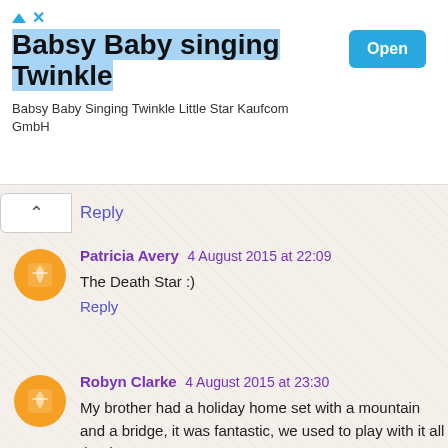[Figure (screenshot): Advertisement banner: 'Babsy Baby singing Twinkle' with Open button]
Reply
Patricia Avery 4 August 2015 at 22:09
The Death Star :)
Reply
Robyn Clarke 4 August 2015 at 23:30
My brother had a holiday home set with a mountain and a bridge, it was fantastic, we used to play with it all the time.
Reply
Unknown 5 August 2015 at 06:41